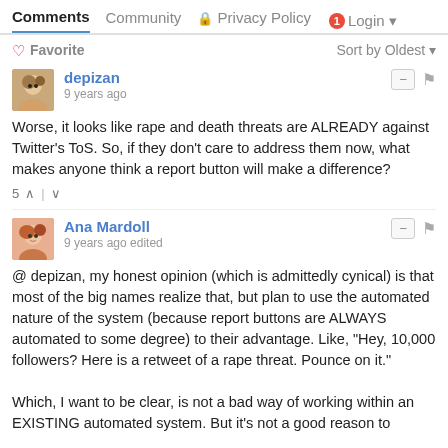Comments  Community  Privacy Policy  1  Login
Favorite   Sort by Oldest
depizan
9 years ago
Worse, it looks like rape and death threats are ALREADY against Twitter's ToS. So, if they don't care to address them now, what makes anyone think a report button will make a difference?
5
Ana Mardoll
9 years ago edited
@ depizan, my honest opinion (which is admittedly cynical) is that most of the big names realize that, but plan to use the automated nature of the system (because report buttons are ALWAYS automated to some degree) to their advantage. Like, "Hey, 10,000 followers? Here is a retweet of a rape threat. Pounce on it."

Which, I want to be clear, is not a bad way of working within an EXISTING automated system. But it's not a good reason to